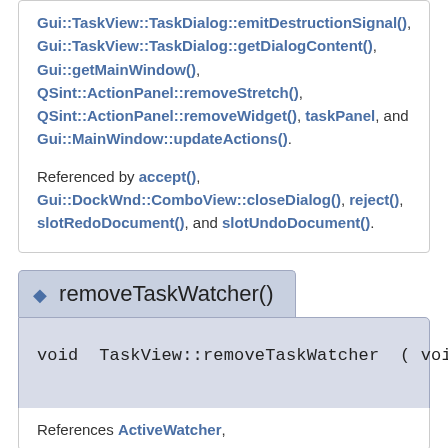Gui::TaskView::TaskDialog::emitDestructionSignal(), Gui::TaskView::TaskDialog::getDialogContent(), Gui::getMainWindow(), QSint::ActionPanel::removeStretch(), QSint::ActionPanel::removeWidget(), taskPanel, and Gui::MainWindow::updateActions().
Referenced by accept(), Gui::DockWnd::ComboView::closeDialog(), reject(), slotRedoDocument(), and slotUndoDocument().
◆ removeTaskWatcher()
void TaskView::removeTaskWatcher ( void ) protected
References ActiveWatcher,